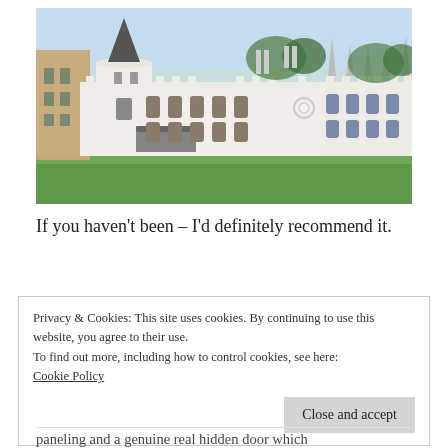[Figure (photo): Photograph of a white Gothic Revival castle with towers, battlements, and arched windows, set on a green lawn under a light blue sky. A stone building is visible to the left.]
If you haven't been – I'd definitely recommend it.
Privacy & Cookies: This site uses cookies. By continuing to use this website, you agree to their use.
To find out more, including how to control cookies, see here:
Cookie Policy
Close and accept
paneling and a genuine real hidden door which